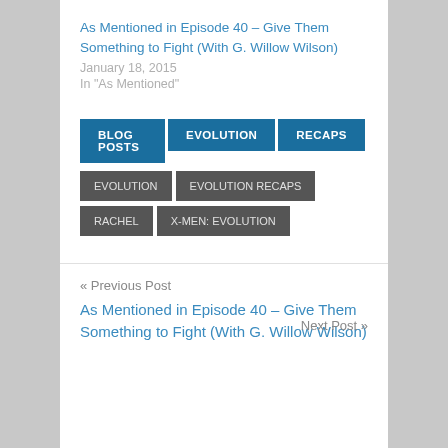As Mentioned in Episode 40 – Give Them Something to Fight (With G. Willow Wilson)
January 18, 2015
In "As Mentioned"
BLOG POSTS
EVOLUTION
RECAPS
EVOLUTION
EVOLUTION RECAPS
RACHEL
X-MEN: EVOLUTION
« Previous Post
As Mentioned in Episode 40 – Give Them Something to Fight (With G. Willow Wilson)
Next Post »